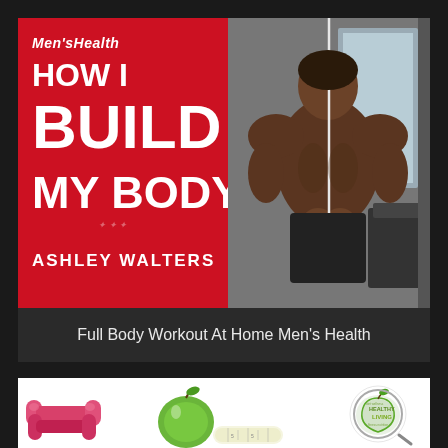[Figure (infographic): Men's Health 'How I Build My Body – Ashley Walters' book/article cover. Left half: red background with white bold text. Right half: photo of muscular shirtless Black man at gym cable machine.]
Full Body Workout At Home Men's Health
[Figure (photo): Two pink dumbbells, a green apple, a measuring tape, and a 'Healthy Living' logo in the style of a word-cloud apple with a magnifying glass.]